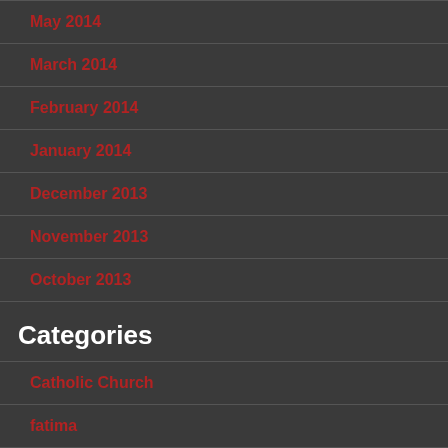May 2014
March 2014
February 2014
January 2014
December 2013
November 2013
October 2013
Categories
Catholic Church
fatima
Feast Days
Iraq